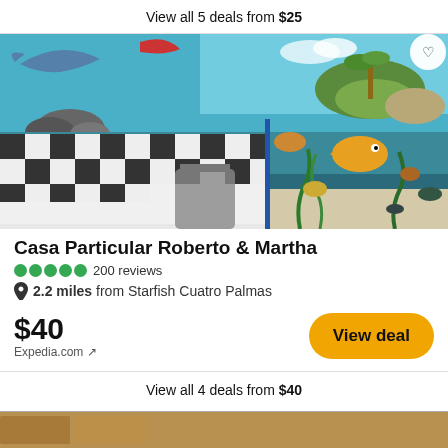View all 5 deals from $25
[Figure (photo): Interior room photo showing black and white checkered table and chairs with colorful underwater/ocean mural painted on walls featuring fish, dolphins, palm trees, and sea life]
Casa Particular Roberto & Martha
200 reviews
2.2 miles from Starfish Cuatro Palmas
$40
Expedia.com ↗
View deal
View all 4 deals from $40